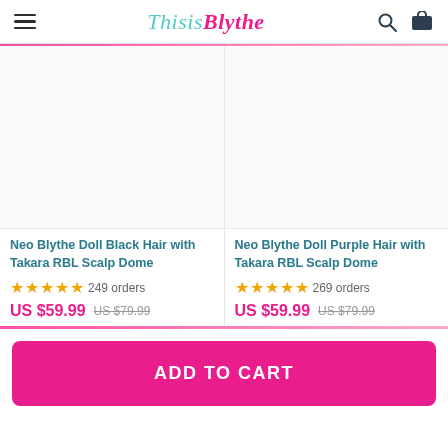ThisisBlythe
[Figure (screenshot): Product card image placeholder - Neo Blythe Doll Black Hair with Takara RBL Scalp Dome]
Neo Blythe Doll Black Hair with Takara RBL Scalp Dome
249 orders
US $59.99  US $79.99
[Figure (screenshot): Product card image placeholder - Neo Blythe Doll Purple Hair with Takara RBL Scalp Dome]
Neo Blythe Doll Purple Hair with Takara RBL Scalp Dome
269 orders
US $59.99  US $79.99
ADD TO CART